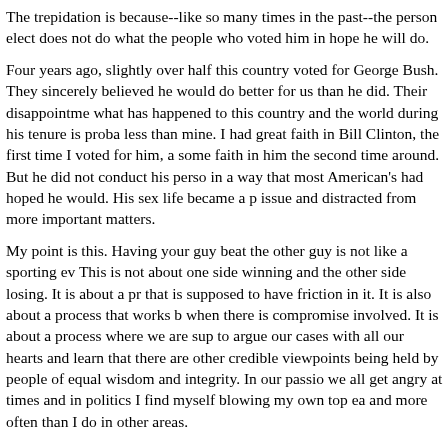The trepidation is because--like so many times in the past--the person elect does not do what the people who voted him in hope he will do.
Four years ago, slightly over half this country voted for George Bush. They sincerely believed he would do better for us than he did. Their disappointme what has happened to this country and the world during his tenure is proba less than mine. I had great faith in Bill Clinton, the first time I voted for him, a some faith in him the second time around. But he did not conduct his perso in a way that most American's had hoped he would. His sex life became a p issue and distracted from more important matters.
My point is this. Having your guy beat the other guy is not like a sporting ev This is not about one side winning and the other side losing. It is about a pr that is supposed to have friction in it. It is also about a process that works b when there is compromise involved. It is about a process where we are sup to argue our cases with all our hearts and learn that there are other credible viewpoints being held by people of equal wisdom and integrity. In our passio we all get angry at times and in politics I find myself blowing my own top ea and more often than I do in other areas.
Electing a president is not about winning. It's about setting a course for the common good. It's about picking the perceived leader of the Western world. about finding a healthy level of governance. It's about finding peaceful solut with other countries, many of whom have leaders who regard us with hostili downright hatred.